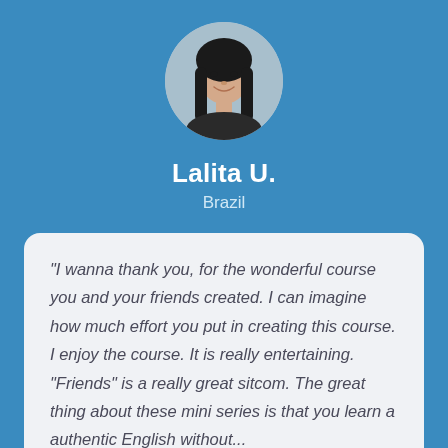[Figure (photo): Circular profile photo of a young woman with long dark hair, smiling, against a light indoor background.]
Lalita U.
Brazil
"I wanna thank you, for the wonderful course you and your friends created. I can imagine how much effort you put in creating this course. I enjoy the course. It is really entertaining. "Friends" is a really great sitcom. The great thing about these mini series is that you learn a authentic English without...